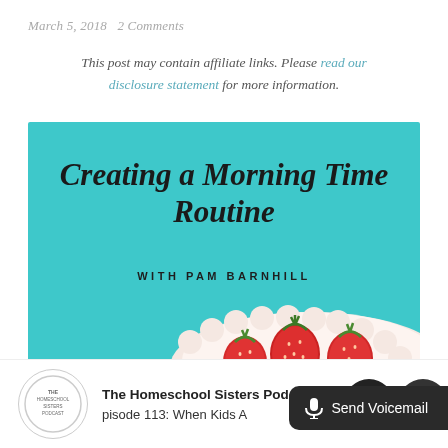March 5, 2018   2 Comments
This post may contain affiliate links. Please read our disclosure statement for more information.
[Figure (illustration): Promotional image for 'Creating a Morning Time Routine with Pam Barnhill' — teal/turquoise background with cursive title text and strawberries on a white plate in the lower right.]
The Homeschool Sisters Podcast
pisode 113: When Kids A
Send Voicemail